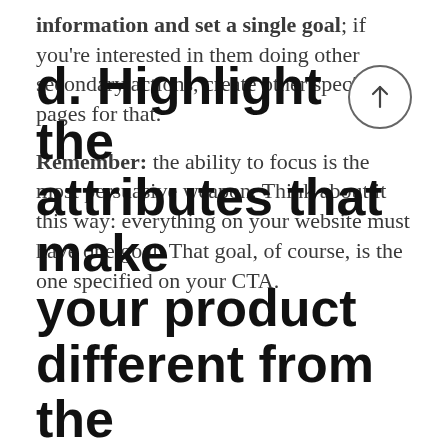information and set a single goal; if you're interested in them doing other secondary actions, create other specific pages for that.
Remember: the ability to focus is the most persuasive weapon. Think about it this way: everything on your website must have one goal. That goal, of course, is the one specified on your CTA.
d. Highlight the attributes that make your product different from the